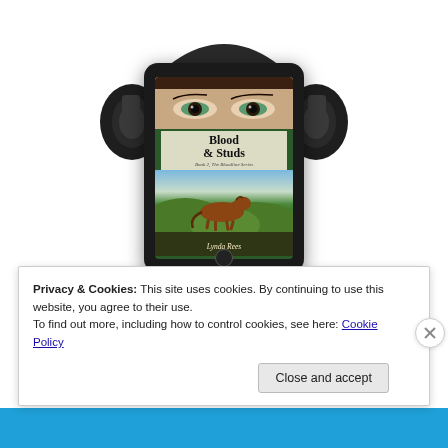[Figure (illustration): A tablet device displaying the book cover of 'Blood & Studs, Book 2, The Bloodline Series' by Lynda Rees, featuring a close-up of green eyes above the title, with a running horse in a green landscape below. The tablet is overlaid with large black over-ear headphones.]
Privacy & Cookies: This site uses cookies. By continuing to use this website, you agree to their use.
To find out more, including how to control cookies, see here: Cookie Policy
Close and accept